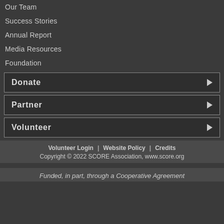Our Team
Success Stories
Annual Report
Media Resources
Foundation
Donate
Partner
Volunteer
Volunteer Login | Website Policy | Credits
Copyright © 2022 SCORE Association, www.score.org
Funded, in part, through a Cooperative Agreement